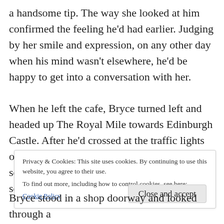a handsome tip. The way she looked at him confirmed the feeling he'd had earlier. Judging by her smile and expression, on any other day when his mind wasn't elsewhere, he'd be happy to get into a conversation with her.

When he left the cafe, Bryce turned left and headed up The Royal Mile towards Edinburgh Castle. After he'd crossed at the traffic lights on the crossroads, he paused to look in a souvenir store window. He'd already spotted something of interest. The same man
Privacy & Cookies: This site uses cookies. By continuing to use this website, you agree to their use.
To find out more, including how to control cookies, see here:
Cookie Policy
Close and accept
Bryce stood in a shop doorway and looked through a